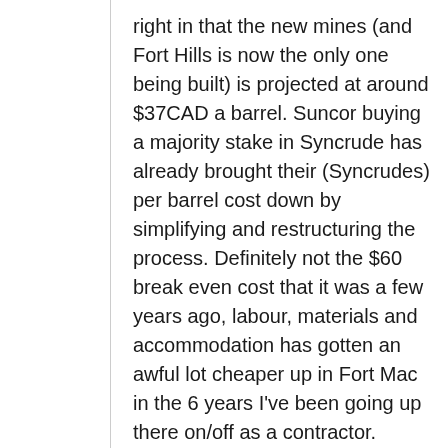right in that the new mines (and Fort Hills is now the only one being built) is projected at around $37CAD a barrel. Suncor buying a majority stake in Syncrude has already brought their (Syncrudes) per barrel cost down by simplifying and restructuring the process. Definitely not the $60 break even cost that it was a few years ago, labour, materials and accommodation has gotten an awful lot cheaper up in Fort Mac in the 6 years I've been going up there on/off as a contractor.
For years I thought that the oil sands were an insane investment but I